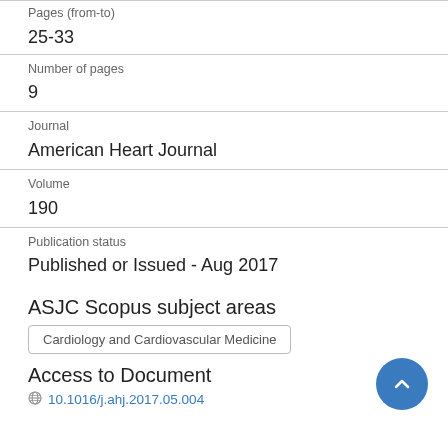Pages (from-to)
25-33
Number of pages
9
Journal
American Heart Journal
Volume
190
Publication status
Published or Issued - Aug 2017
ASJC Scopus subject areas
Cardiology and Cardiovascular Medicine
Access to Document
10.1016/j.ahj.2017.05.004